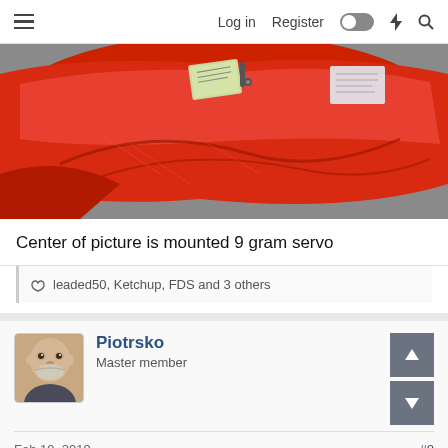Log in   Register
[Figure (photo): Red plastic RC airplane part or fuselage component with a 9 gram servo mounted in the center, viewed from above, placed on a gray surface. The red plastic shows creases and scratches. Small green card/label and hardware visible.]
Center of picture is mounted 9 gram servo
leaded50, Ketchup, FDS and 3 others
Piotrsko
Master member
Feb 19, 2019
#8